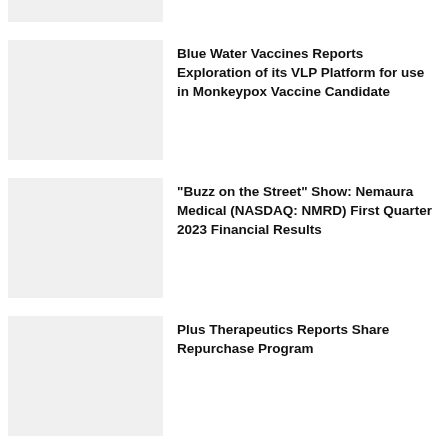[Figure (photo): Partial thumbnail image at top, cropped]
Blue Water Vaccines Reports Exploration of its VLP Platform for use in Monkeypox Vaccine Candidate
"Buzz on the Street" Show: Nemaura Medical (NASDAQ: NMRD) First Quarter 2023 Financial Results
Plus Therapeutics Reports Share Repurchase Program
Breaking News: Nemaura Medical Reports Fiscal First Quarter 2023